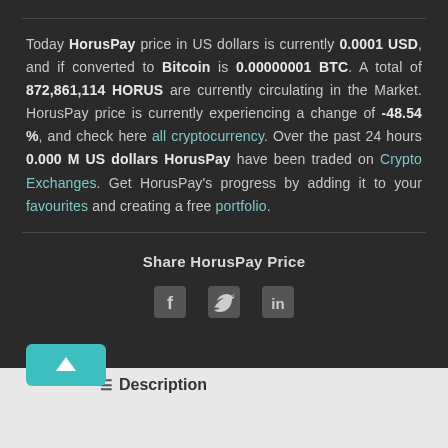Today HorusPay price in US dollars is currently 0.0001 USD, and if converted to Bitcoin is 0.00000001 BTC. A total of 872,861,114 HORUS are currently circulating in the Market. HorusPay price is currently experiencing a change of -48.54 %, and check here all cryptocurrency. Over the past 24 hours 0.000 M US dollars HorusPay have been traded on Crypto Exchanges. Get HorusPay's progress by adding it to your favourites and creating a free portfolio.
Share HorusPay Price
[Figure (other): Social sharing icons: Facebook, Twitter, LinkedIn]
[Figure (other): Scroll to top button (teal/cyan upward arrow)]
Description